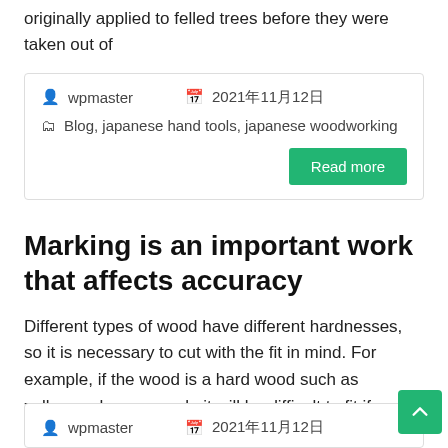originally applied to felled trees before they were taken out of
wpmaster   2021年11月12日   Blog, japanese hand tools, japanese woodworking
Marking is an important work that affects accuracy
Different types of wood have different hardnesses, so it is necessary to cut with the fit in mind. For example, if the wood is a hard wood such as zelkova, cherry, or oak, it will be difficult to fit if
wpmaster   2021年11月12日